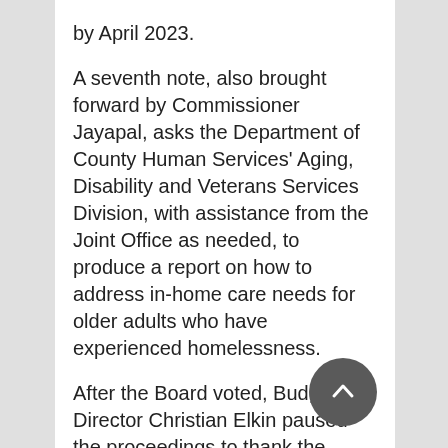by April 2023.
A seventh note, also brought forward by Commissioner Jayapal, asks the Department of County Human Services' Aging, Disability and Veterans Services Division, with assistance from the Joint Office as needed, to produce a report on how to address in-home care needs for older adults who have experienced homelessness.
After the Board voted, Budget Director Christian Elkin paused the proceedings to thank the Chair for her long service.
“Chair Kafoury, this has been an incredible journey,” Elkin said.